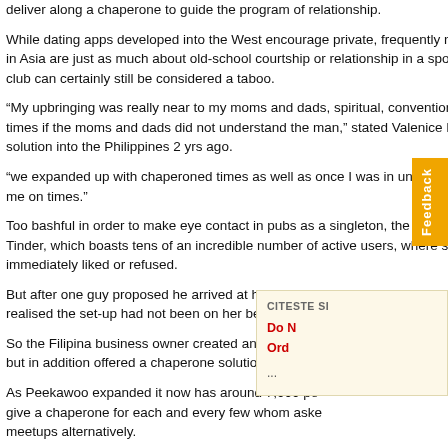deliver along a chaperone to guide the program of relationship.
While dating apps developed into the West encourage private, frequently no-strings in Asia are just as much about old-school courtship or relationship in a spot where club can certainly still be considered a taboo.
“My upbringing was really near to my moms and dads, spiritual, conventional a times if the moms and dads did not understand the man,” stated Valenice Bala solution into the Philippines 2 yrs ago.
“we expanded up with chaperoned times as well as once I was in university my me on times.”
Too bashful in order to make eye contact in pubs as a singleton, the 26-year-ol Tinder, which boasts tens of an incredible number of active users, where s immediately liked or refused.
But after one guy proposed he arrived at her household after their very fi realised the set-up had not been on her behalf.
So the Filipina business owner created an applicatio but in addition offered a chaperone solution for indivi
As Peekawoo expanded it now has around 7,000 pe give a chaperone for each and every few whom aske meetups alternatively.
It really is a model provided by Hong Kong-based ap